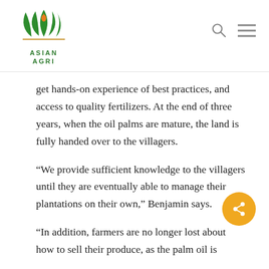[Figure (logo): Asian Agri logo with green leaf/plant design and orange droplet, with text ASIAN AGRI below]
get hands-on experience of best practices, and access to quality fertilizers. At the end of three years, when the oil palms are mature, the land is fully handed over to the villagers.
“We provide sufficient knowledge to the villagers until they are eventually able to manage their plantations on their own,” Benjamin says.
“In addition, farmers are no longer lost about how to sell their produce, as the palm oil is